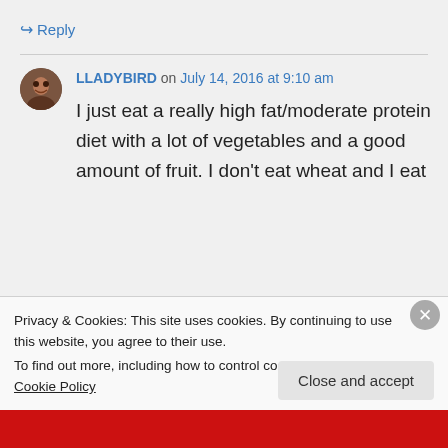↪ Reply
LLADYBIRD on July 14, 2016 at 9:10 am
I just eat a really high fat/moderate protein diet with a lot of vegetables and a good amount of fruit. I don't eat wheat and I eat
Privacy & Cookies: This site uses cookies. By continuing to use this website, you agree to their use.
To find out more, including how to control cookies, see here: Cookie Policy
Close and accept